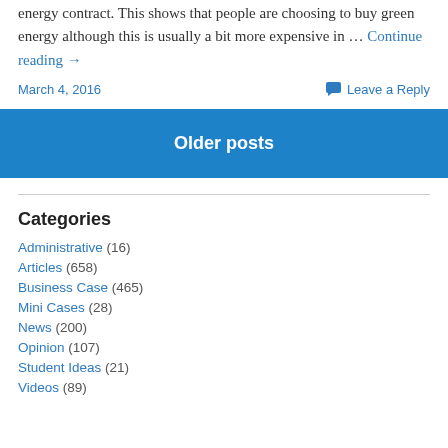energy contract. This shows that people are choosing to buy green energy although this is usually a bit more expensive in … Continue reading →
March 4, 2016    Leave a Reply
Older posts
Categories
Administrative (16)
Articles (658)
Business Case (465)
Mini Cases (28)
News (200)
Opinion (107)
Student Ideas (21)
Videos (89)